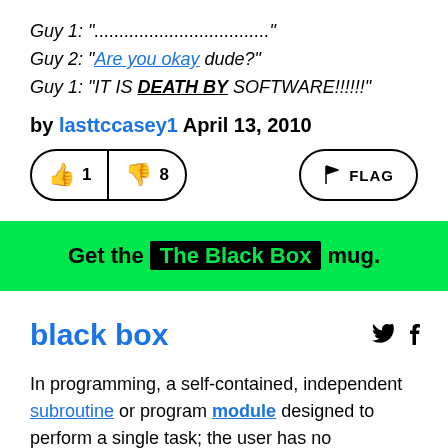Guy 1: "..................................."
Guy 2: "Are you okay dude?"
Guy 1: "IT IS DEATH BY SOFTWARE!!!!!!"
by lasttccasey1 April 13, 2010
[Figure (other): Vote buttons showing thumbs up with count 1 and thumbs down with count 8, plus a FLAG button on the right]
Get the The Black Box mug.
black box
In programming, a self-contained, independent subroutine or program module designed to perform a single task; the user has no knowledge